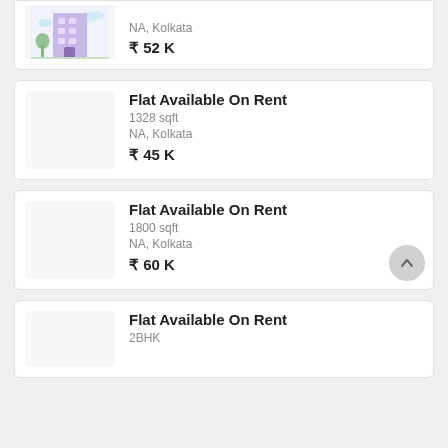[Figure (illustration): Partial card at top showing a building illustration and price ₹ 52 K, location NA, Kolkata]
NA, Kolkata
₹ 52 K
Flat Available On Rent
1328 sqft
NA, Kolkata
₹ 45 K
Flat Available On Rent
1800 sqft
NA, Kolkata
₹ 60 K
Flat Available On Rent
2BHK